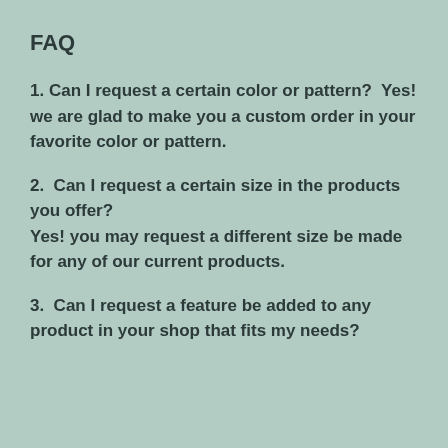FAQ
1. Can I request a certain color or pattern?  Yes! we are glad to make you a custom order in your favorite color or pattern.
2.  Can I request a certain size in the products you offer?
Yes! you may request a different size be made for any of our current products.
3.  Can I request a feature be added to any product in your shop that fits my needs?